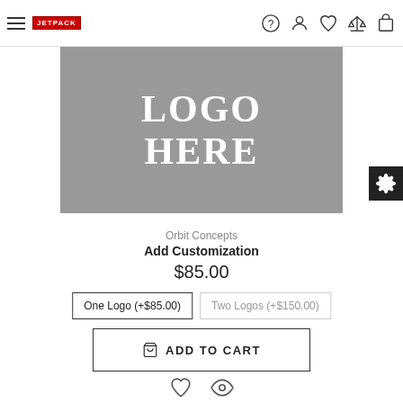Navigation bar with hamburger menu, logo, and icons: help, account, wishlist, compare, cart
[Figure (illustration): Gray product placeholder image with white serif text reading 'LOGO HERE']
Orbit Concepts
Add Customization
$85.00
One Logo (+$85.00)
Two Logos (+$150.00)
ADD TO CART